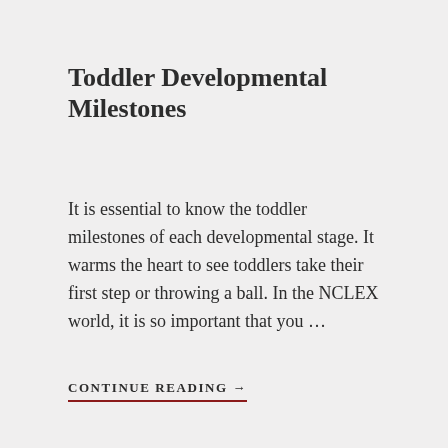Toddler Developmental Milestones
It is essential to know the toddler milestones of each developmental stage. It warms the heart to see toddlers take their first step or throwing a ball. In the NCLEX world, it is so important that you …
CONTINUE READING →
Pass the Interactive Pediatric Nursing Game with a High Score